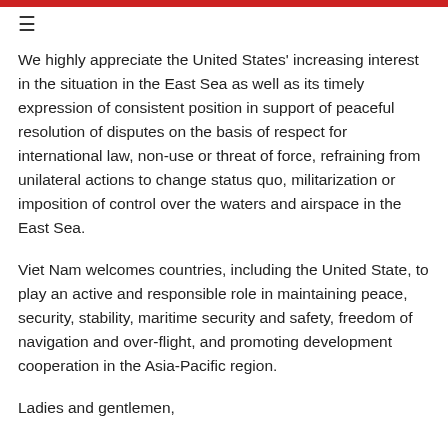≡
We highly appreciate the United States' increasing interest in the situation in the East Sea as well as its timely expression of consistent position in support of peaceful resolution of disputes on the basis of respect for international law, non-use or threat of force, refraining from unilateral actions to change status quo, militarization or imposition of control over the waters and airspace in the East Sea.
Viet Nam welcomes countries, including the United State, to play an active and responsible role in maintaining peace, security, stability, maritime security and safety, freedom of navigation and over-flight, and promoting development cooperation in the Asia-Pacific region.
Ladies and gentlemen,